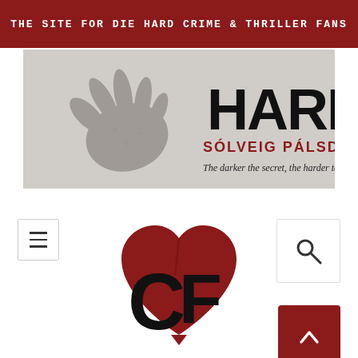THE SITE FOR DIE HARD CRIME & THRILLER FANS
[Figure (illustration): Book cover banner for 'HARM' by Sólveig Pálsdóttir. Background shows a dark hand impression in snow. Large bold text 'HARM' in black, author name 'SÓLVEIG PÁLSDÓTTIR' in dark red, tagline 'The darker the secret, the harder to bury it.' in italic.]
[Figure (logo): Crime Fiction Lover (CF) logo: a dark red broken heart shape with bold black letters 'CF' overlaid on it.]